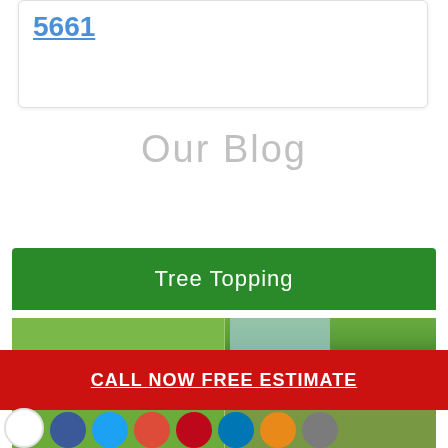5661
Our Blog
Tree Topping
[Figure (photo): Outdoor trees and house rooftop photo strip (top)]
CALL NOW FREE ESTIMATE
[Figure (photo): Outdoor trees and house rooftop photo strip (bottom)]
[Figure (infographic): Row of social media share/follow icons: white, Facebook (blue), Twitter (light blue), Google+ (red), Pinterest (dark red), LinkedIn (blue), email/share (orange), more (gray)]